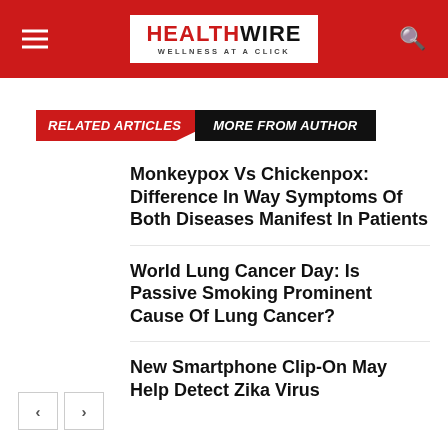HEALTHWIRE — WELLNESS AT A CLICK
RELATED ARTICLES | MORE FROM AUTHOR
Monkeypox Vs Chickenpox: Difference In Way Symptoms Of Both Diseases Manifest In Patients
World Lung Cancer Day: Is Passive Smoking Prominent Cause Of Lung Cancer?
New Smartphone Clip-On May Help Detect Zika Virus